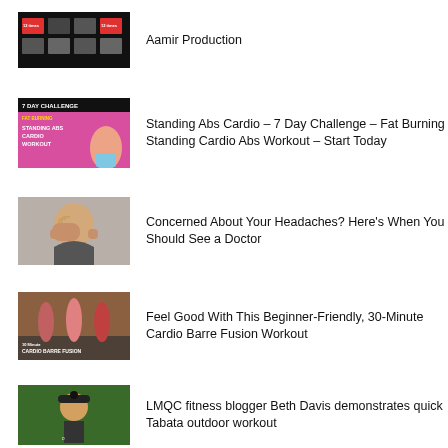[Figure (photo): Video thumbnail with fitness content, dark background, 12 times text visible]
Aamir Production
[Figure (photo): 7 Day Challenge Fat Burning Standing Abs Cardio Workout pink thumbnail with woman]
Standing Abs Cardio – 7 Day Challenge – Fat Burning Standing Cardio Abs Workout – Start Today
[Figure (photo): Person holding head in hands, concerned about headaches]
Concerned About Your Headaches? Here's When You Should See a Doctor
[Figure (photo): Three women doing cardio barre fusion workout]
Feel Good With This Beginner-Friendly, 30-Minute Cardio Barre Fusion Workout
[Figure (photo): Man outdoors in park with cap, fitness blogger Beth Davis]
LMQC fitness blogger Beth Davis demonstrates quick Tabata outdoor workout